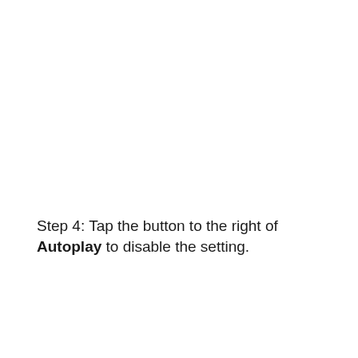Step 4: Tap the button to the right of Autoplay to disable the setting.